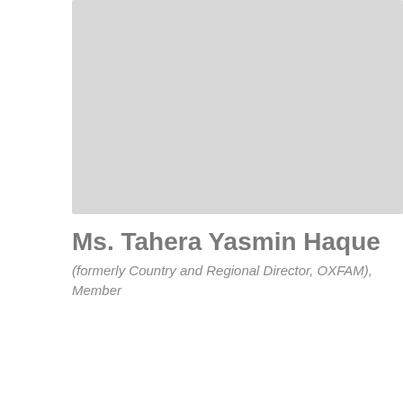[Figure (photo): Gray placeholder photo box at the top of the page]
Ms. Tahera Yasmin Haque
(formerly Country and Regional Director, OXFAM), Member
[Figure (photo): Portrait photograph of Ms. Tahera Yasmin Haque, a woman with dark hair, with a loading spinner overlay visible]